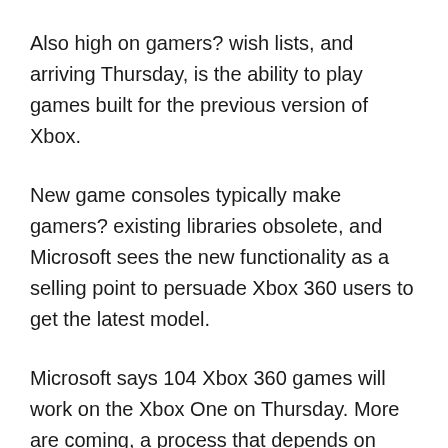Also high on gamers? wish lists, and arriving Thursday, is the ability to play games built for the previous version of Xbox.
New game consoles typically make gamers? existing libraries obsolete, and Microsoft sees the new functionality as a selling point to persuade Xbox 360 users to get the latest model.
Microsoft says 104 Xbox 360 games will work on the Xbox One on Thursday. More are coming, a process that depends on user requests and Microsoft?s ability to negotiate deals with publishers to approve their games? use on the newer device.